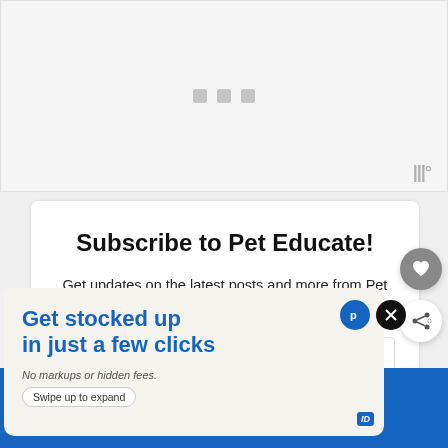[Figure (other): Loading placeholder / ad area with three gray squares and Tidal-style logo watermark at bottom right]
Subscribe to Pet Educate!
Get updates on the latest posts and more from Pet Educate straight to your inbox.
Your Email...
[Figure (other): Advertisement banner: 'Get stocked up in just a few clicks' with blue text on light background. Subtext: 'No markups or hidden fees.' with 'Swipe up to expand' button. Blue bar at bottom. Close and P buttons on right side.]